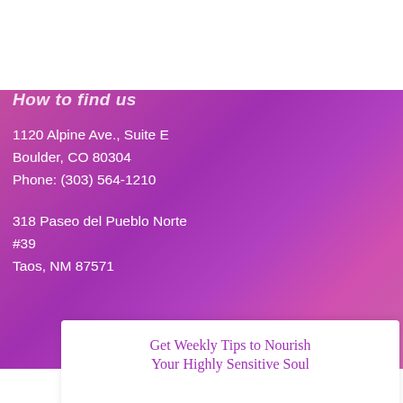[Figure (logo): Dreamtime Healings logo — decorative mandala/flower of life circle with geometric star inside, ornate purple and gold line art]
Dreamtime Healings
How to find us
1120 Alpine Ave., Suite E
Boulder, CO 80304
Phone: (303) 564-1210
318 Paseo del Pueblo Norte #39
Taos, NM 87571
Get Weekly Tips to Nourish Your Highly Sensitive Soul